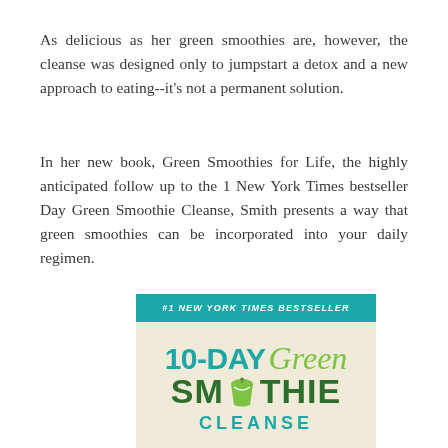As delicious as her green smoothies are, however, the cleanse was designed only to jumpstart a detox and a new approach to eating--it's not a permanent solution.
In her new book, Green Smoothies for Life, the highly anticipated follow up to the 1 New York Times bestseller Day Green Smoothie Cleanse, Smith presents a way that green smoothies can be incorporated into your daily regimen.
[Figure (illustration): Book cover for '10-Day Green Smoothie Cleanse' with a teal header banner reading '#1 NEW YORK TIMES BESTSELLER', teal and green typography on a cream background, green smoothie glass icon replacing the 'O' in SMOOTHIE, and 'CLEANSE' in teal below.]